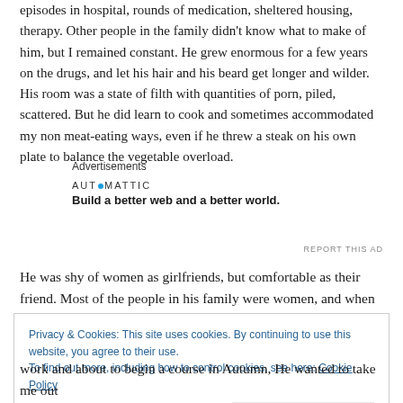episodes in hospital, rounds of medication, sheltered housing, therapy. Other people in the family didn't know what to make of him, but I remained constant. He grew enormous for a few years on the drugs, and let his hair and his beard get longer and wilder. His room was a state of filth with quantities of porn, piled, scattered. But he did learn to cook and sometimes accommodated my non meat-eating ways, even if he threw a steak on his own plate to balance the vegetable overload.
Advertisements
[Figure (logo): Automattic logo and tagline: Build a better web and a better world.]
REPORT THIS AD
He was shy of women as girlfriends, but comfortable as their friend. Most of the people in his family were women, and when he was housed with lots of people I saw many girls come to him for counsel. When he got
Privacy & Cookies: This site uses cookies. By continuing to use this website, you agree to their use.
To find out more, including how to control cookies, see here: Cookie Policy
Close and accept
work and about to begin a course in Autumn, He wanted to take me out